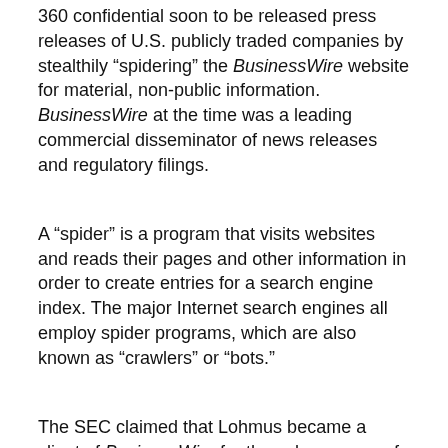360 confidential soon to be released press releases of U.S. publicly traded companies by stealthily “spidering” the BusinessWire website for material, non-public information. BusinessWire at the time was a leading commercial disseminator of news releases and regulatory filings.
A “spider” is a program that visits websites and reads their pages and other information in order to create entries for a search engine index. The major Internet search engines all employ spider programs, which are also known as “crawlers” or “bots.”
The SEC claimed that Lohmus became a client of BusinessWire for the sole purpose of gaining access